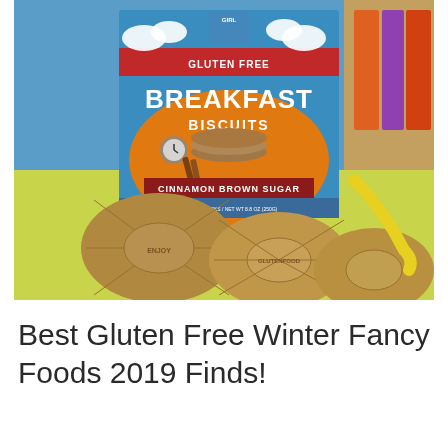[Figure (photo): Photo of a box of Gluten Free Breakfast Biscuits in Cinnamon Brown Sugar flavor, with several round embossed biscuits displayed in front on a yellow surface. The box features a blue and orange design with clouds.]
Best Gluten Free Winter Fancy Foods 2019 Finds!